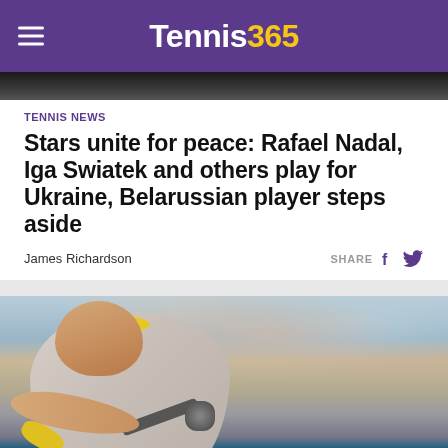Tennis365
TENNIS NEWS
Stars unite for peace: Rafael Nadal, Iga Swiatek and others play for Ukraine, Belarussian player steps aside
James Richardson
SHARE
[Figure (photo): Rafael Nadal playing tennis, hitting a backhand shot on a hard court. He is wearing a yellow headband, grey shirt, and yellow wristbands. A crowd of spectators is visible in the background and a blue court banner with 'ATI' text is at the bottom of the image.]